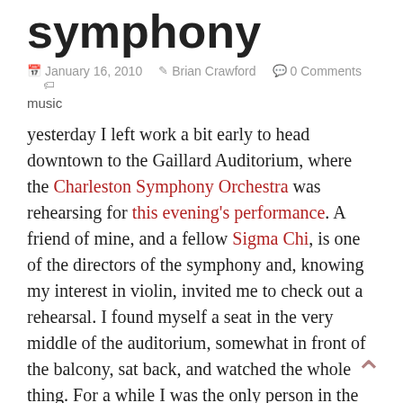symphony
January 16, 2010  Brian Crawford  0 Comments  music
yesterday I left work a bit early to head downtown to the Gaillard Auditorium, where the Charleston Symphony Orchestra was rehearsing for this evening's performance. A friend of mine, and a fellow Sigma Chi, is one of the directors of the symphony and, knowing my interest in violin, invited me to check out a rehearsal. I found myself a seat in the very middle of the auditorium, somewhat in front of the balcony, sat back, and watched the whole thing. For a while I was the only person in the entire audience, watching the full Symphony play their performance, just for me! Well, mostly for David Stahl, the Music Director and Conductor, who was leading them through the rehearsal, but I was there too. At any rate, it was incredible.